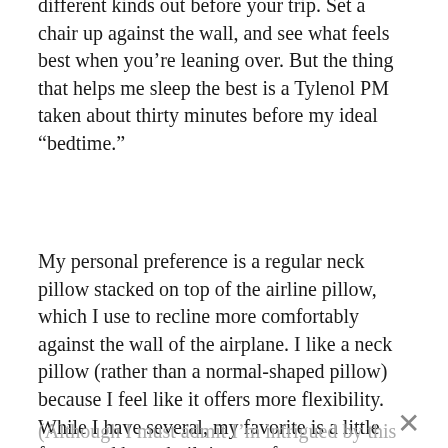The best advice I can give is to try a few different kinds out before your trip. Set a chair up against the wall, and see what feels best when you're leaning over. But the thing that helps me sleep the best is a Tylenol PM taken about thirty minutes before my ideal “bedtime.”
My personal preference is a regular neck pillow stacked on top of the airline pillow, which I use to recline more comfortably against the wall of the airplane. I like a neck pillow (rather than a normal-shaped pillow) because I feel like it offers more flexibility. While I have several, my favorite is a little fuzzy and has a built in snap for easy carrying.
(Although I must admit I’m intrigued by this